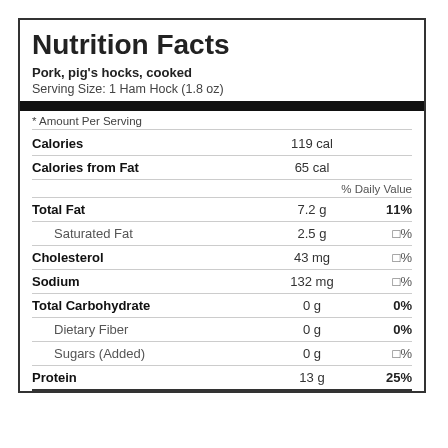Nutrition Facts
Pork, pig's hocks, cooked
Serving Size: 1 Ham Hock (1.8 oz)
| Nutrient | Amount Per Serving | % Daily Value |
| --- | --- | --- |
| Calories | 119 cal |  |
| Calories from Fat | 65 cal |  |
| Total Fat | 7.2 g | 11% |
| Saturated Fat | 2.5 g | □% |
| Cholesterol | 43 mg | □% |
| Sodium | 132 mg | □% |
| Total Carbohydrate | 0 g | 0% |
| Dietary Fiber | 0 g | 0% |
| Sugars (Added) | 0 g | □% |
| Protein | 13 g | 25% |